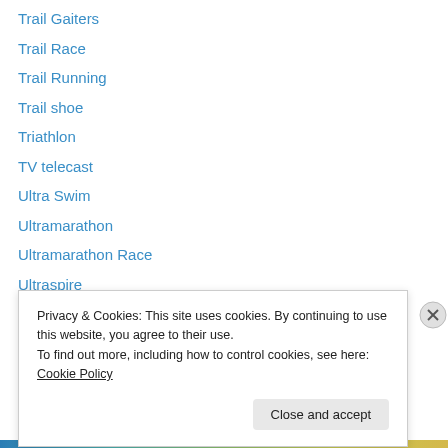Trail Gaiters
Trail Race
Trail Running
Trail shoe
Triathlon
TV telecast
Ultra Swim
Ultramarathon
Ultramarathon Race
Ultraspire
UNO Magazine
Vaseline Xterra Philippines
Veloci
Privacy & Cookies: This site uses cookies. By continuing to use this website, you agree to their use.
To find out more, including how to control cookies, see here: Cookie Policy
Close and accept